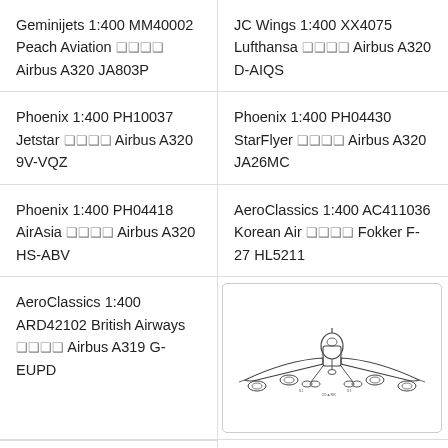Geminijets 1:400 MM40002 Peach Aviation 모型 Airbus A320 JA803P
JC Wings 1:400 XX4075 Lufthansa 모型 Airbus A320 D-AIQS
Phoenix 1:400 PH10037 Jetstar 모型 Airbus A320 9V-VQZ
Phoenix 1:400 PH04430 StarFlyer 모型 Airbus A320 JA26MC
Phoenix 1:400 PH04418 AirAsia 모型 Airbus A320 HS-ABV
AeroClassics 1:400 AC411036 Korean Air 모型 Fokker F-27 HL5211
AeroClassics 1:400 ARD42102 British Airways 모型 Airbus A319 G-EUPD
[Figure (illustration): Front-view technical line drawing of a wide-body aircraft (Boeing/Airbus type), showing cockpit, wings, engines, landing gear and registration markings]
Hogan 1:400 NH40055 ANA 모型 Boeing